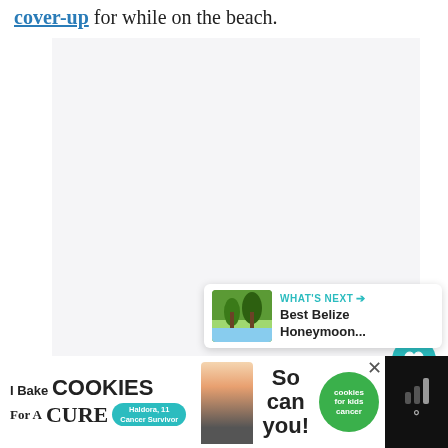cover-up for while on the beach.
[Figure (photo): Large light gray image placeholder area for a photo]
[Figure (infographic): Heart/like button (teal circle with heart icon), like count of 73, and share button (circle with share icon)]
[Figure (infographic): What's Next card showing a thumbnail of a tropical beach with palm trees, labeled 'WHAT'S NEXT' and 'Best Belize Honeymoon...']
[Figure (infographic): Advertisement banner: 'I Bake COOKIES For A CURE' with Haldora, 11 Cancer Survivor, cookies for kids cancer logo, and 'So can you!' text. Dark bar on right with signal/weather icons.]